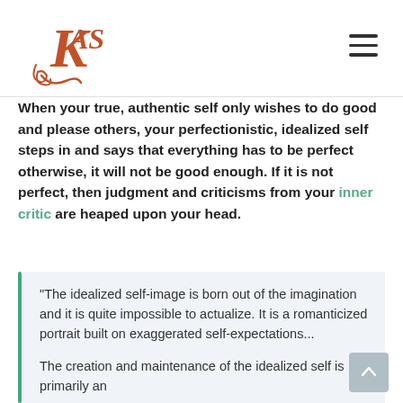KAS logo and navigation menu
When your true, authentic self only wishes to do good and please others, your perfectionistic, idealized self steps in and says that everything has to be perfect otherwise, it will not be good enough. If it is not perfect, then judgment and criticisms from your inner critic are heaped upon your head.
“The idealized self-image is born out of the imagination and it is quite impossible to actualize. It is a romanticized portrait built on exaggerated self-expectations...

The creation and maintenance of the idealized self is primarily an